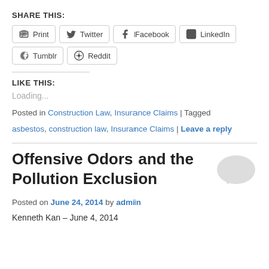SHARE THIS:
Print | Twitter | Facebook | LinkedIn | Tumblr | Reddit
LIKE THIS:
Loading...
Posted in Construction Law, Insurance Claims | Tagged asbestos, construction law, Insurance Claims | Leave a reply
Offensive Odors and the Pollution Exclusion
Posted on June 24, 2014 by admin
Kenneth Kan – June 4, 2014